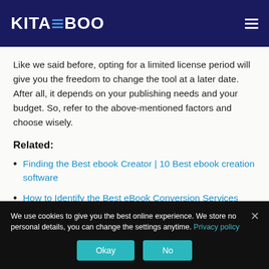KITABOO
Like we said before, opting for a limited license period will give you the freedom to change the tool at a later date. After all, it depends on your publishing needs and your budget. So, refer to the above-mentioned factors and choose wisely.
Related:
Finding the Best ebook Creator | 10 Best ebook creation software
How to Identify the Best eBook Conversion Services
We use cookies to give you the best online experience. We store no personal details, you can change the settings anytime. Privacy policy
Okay  No